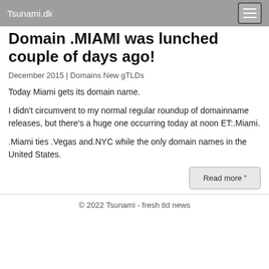Tsunami.dk
Domain .MIAMI was lunched couple of days ago!
December 2015 | Domains New gTLDs
Today Miami gets its domain name.
I didn't circumvent to my normal regular roundup of domainname releases, but there's a huge one occurring today at noon ET:.Miami.
.Miami ties .Vegas and.NYC while the only domain names in the United States.
Read more "
© 2022 Tsunami - fresh tld news